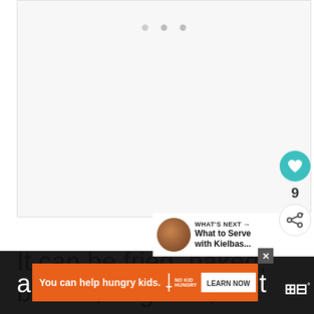[Figure (photo): Large white/light gray image area with three small gray dots near the top center, representing a loading or placeholder image area for a recipe article.]
[Figure (screenshot): UI sidebar buttons: teal heart/like button, like count '9', and a share button with a plus sign.]
[Figure (screenshot): What's Next panel showing a circular food thumbnail image and text 'WHAT'S NEXT → What to Serve with Kielbas...']
It can be fried, baked, broiled, or grilled,
a
ent
[Figure (screenshot): Advertisement banner with orange background: 'You can help hungry kids.' with No Kid Hungry logo and 'LEARN NOW' button. Close X button above.]
[Figure (logo): Tastemade logo in white with superscript degree symbol, displayed in bottom right on dark background.]